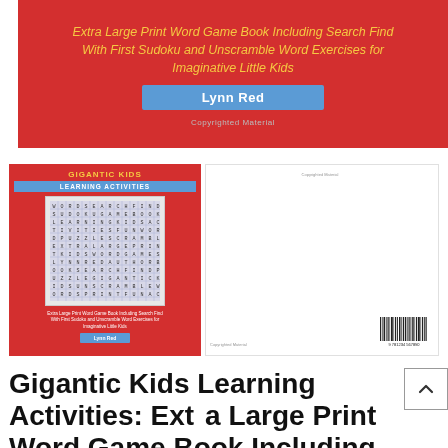[Figure (illustration): Book cover banner on red background showing subtitle 'Extra Large Print Word Game Book Including Search Find With First Sudoku and Unscramble Word Exercises for Imaginative Little Kids', author 'Lynn Red' in blue box, and 'Copyrighted Material' text]
[Figure (illustration): Thumbnail of book front cover (red, with GIGANTIC KIDS and LEARNING ACTIVITIES labels, word search grid, description text, and author button) and back cover (white with barcode)]
Gigantic Kids Learning Activities: Extra Large Print Word Game Book Including Search Find